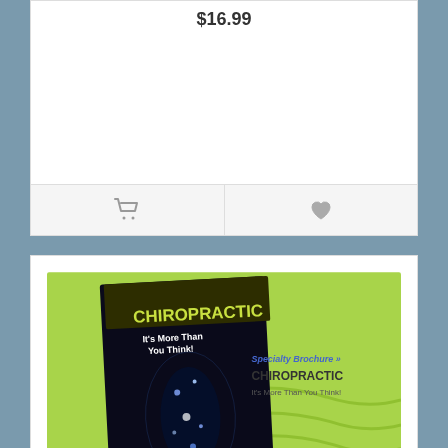$16.99
[Figure (illustration): Shopping cart icon and heart/wishlist icon buttons at bottom of product card]
[Figure (photo): Chiropractic specialty brochure with green background showing a brochure cover with CHIROPRACTIC text and spine/nerve imagery]
SB - Chiropractic, It's More than You Think
Chiropractic, It's More than You Think! Trifold Brochure..